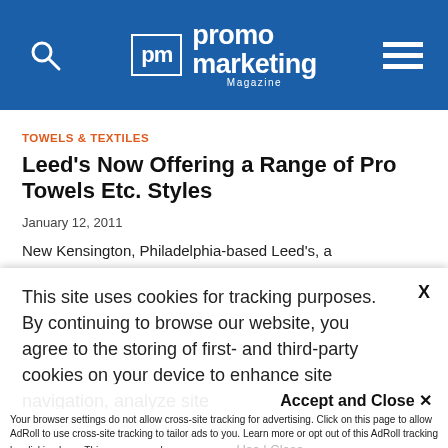promo marketing Magazine
TOWELS & TEXTILES
Leed's Now Offering a Range of Pro Towels Etc. Styles
January 12, 2011
New Kensington, Philadelphia-based Leed's, a
This site uses cookies for tracking purposes. By continuing to browse our website, you agree to the storing of first- and third-party cookies on your device to enhance site navigation, analyze site usage, and assist in our marketing and
Accept and Close ✕
Your browser settings do not allow cross-site tracking for advertising. Click on this page to allow AdRoll to use cross-site tracking to tailor ads to you. Learn more or opt out of this AdRoll tracking by clicking here. This message only appears once.